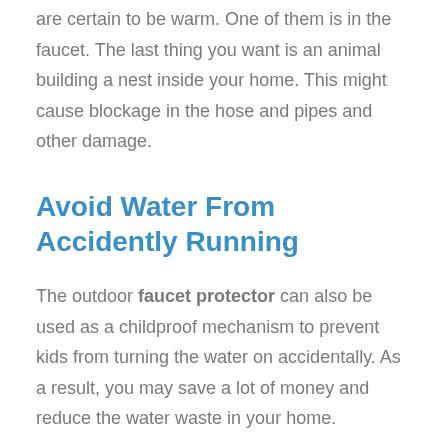are certain to be warm. One of them is in the faucet. The last thing you want is an animal building a nest inside your home. This might cause blockage in the hose and pipes and other damage.
Avoid Water From Accidently Running
The outdoor faucet protector can also be used as a childproof mechanism to prevent kids from turning the water on accidentally. As a result, you may save a lot of money and reduce the water waste in your home.